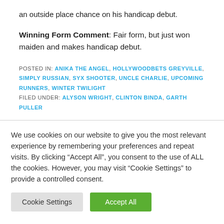an outside place chance on his handicap debut.
Winning Form Comment: Fair form, but just won maiden and makes handicap debut.
POSTED IN: ANIKA THE ANGEL, HOLLYWOODBETS GREYVILLE, SIMPLY RUSSIAN, SYX SHOOTER, UNCLE CHARLIE, UPCOMING RUNNERS, WINTER TWILIGHT
FILED UNDER: ALYSON WRIGHT, CLINTON BINDA, GARTH PULLER
We use cookies on our website to give you the most relevant experience by remembering your preferences and repeat visits. By clicking “Accept All”, you consent to the use of ALL the cookies. However, you may visit "Cookie Settings" to provide a controlled consent.